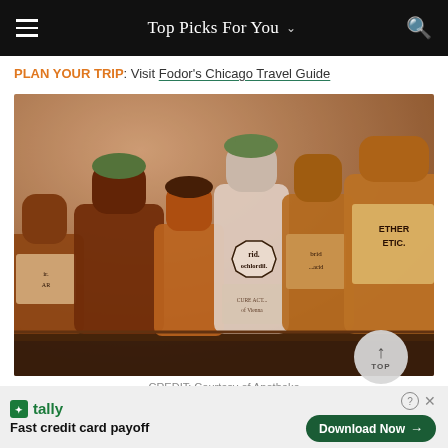Top Picks For You
PLAN YOUR TRIP: Visit Fodor's Chicago Travel Guide
[Figure (photo): Row of vintage apothecary glass bottles on a shelf with labels including 'rid. ochlordil.' and 'ETHER ETIC.' in warm brown/amber tones]
CREDIT: Courtesy of Apotheke
Fast credit card payoff — Download Now (Tally ad)